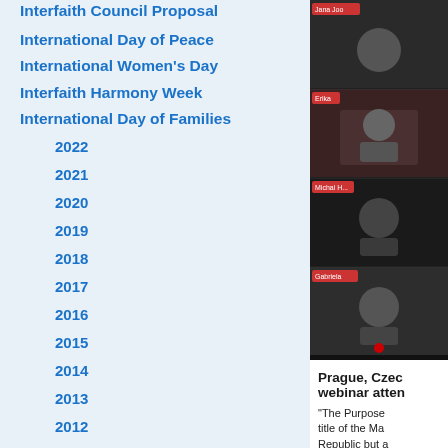Interfaith Council Proposal
International Day of Peace
International Women's Day
Interfaith Harmony Week
International Day of Families
2022
2021
2020
2019
2018
2017
2016
2015
2014
2013
2012
[Figure (screenshot): Screenshot of a video conference/webinar with multiple participant tiles visible in a dark interface. Participant names partially visible include Jana Joo, Erika, Michal H, and Gabriela.]
Prague, Czec webinar atten
“The Purpose title of the Ma Republic but a